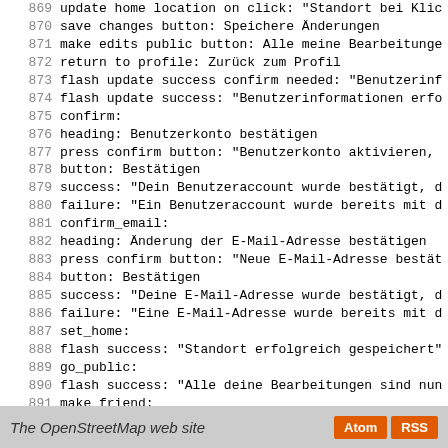869  update home location on click: "Standort bei Klic"
870      save changes button: Speichere Änderungen
871      make edits public button: Alle meine Bearbeitunge
872      return to profile: Zurück zum Profil
873      flash update success confirm needed: "Benutzerinf
874      flash update success: "Benutzerinformationen erfo
875    confirm:
876      heading: Benutzerkonto bestätigen
877      press confirm button: "Benutzerkonto aktivieren,
878      button: Bestätigen
879      success: "Dein Benutzeraccount wurde bestätigt, d
880      failure: "Ein Benutzeraccount wurde bereits mit d
881    confirm_email:
882      heading: Änderung der E-Mail-Adresse bestätigen
883      press confirm button: "Neue E-Mail-Adresse bestät
884      button: Bestätigen
885      success: "Deine E-Mail-Adresse wurde bestätigt, d
886      failure: "Eine E-Mail-Adresse wurde bereits mit d
887    set_home:
888      flash success: "Standort erfolgreich gespeichert"
889    go_public:
890      flash success: "Alle deine Bearbeitungen sind nun
891    make_friend:
892      success: "{{name}} ist nun dein Freund."
893      failed: "Sorry, {{name}} konnte nicht als dein Fr
894      already_a_friend: "Du bist bereits mit {{name}} b
895    remove_friend:
896      success: "{{name} wurde als Freund entfernt."
897      not_a_friend: "{{name}} ist nicht dein Freund."
The OpenStreetMap web site  Atom  RSS